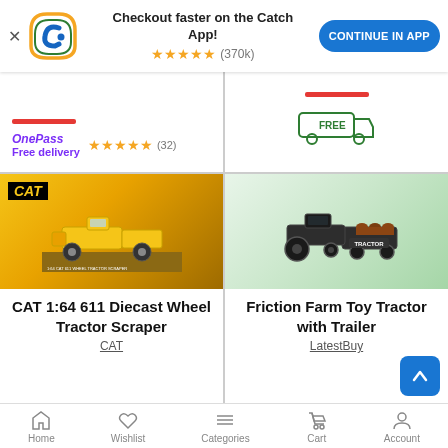[Figure (screenshot): App promotion banner with Catch.com.au logo, text 'Checkout faster on the Catch App!', 5-star rating (370k reviews), and 'CONTINUE IN APP' blue button]
OnePass Free delivery ★★★★★ (32)
[Figure (illustration): Green outlined FREE delivery truck icon with 'FREE' text inside]
[Figure (photo): CAT 1:64 611 Diecast Wheel Tractor Scraper product box image with yellow CAT construction vehicles]
CAT 1:64 611 Diecast Wheel Tractor Scraper
CAT
[Figure (photo): Friction Farm Toy Tractor with Trailer product box image showing a black tractor with trailer]
Friction Farm Toy Tractor with Trailer
LatestBuy
Home  Wishlist  Categories  Cart  Account